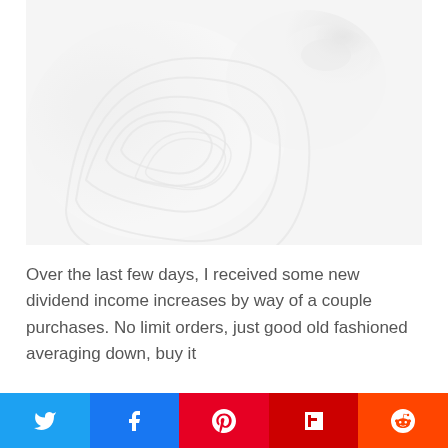[Figure (photo): Close-up abstract photo of white swirling cream or liquid with circular ripple patterns, very light and soft tones]
Over the last few days, I received some new dividend income increases by way of a couple purchases. No limit orders, just good old fashioned averaging down, buy it